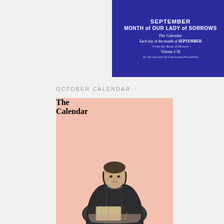[Figure (illustration): Blue banner with white text: SEPTEMBER, MONTH of OUR LADY of SORROWS, The Calendar, Each day of the month of SEPTEMBER, - From the Book of Heaven -, Volume 2-36, by the Servant of God Luisa Piccarreta]
OCTOBER CALENDAR
[Figure (photo): Pink background calendar cover showing 'The Calendar' in bold black text, with a black-and-white photograph of Luisa Piccarreta seated, wearing dark religious garments.]